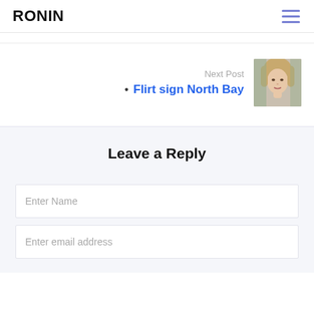RONIN
Next Post
Flirt sign North Bay
[Figure (photo): Thumbnail image of a woman with styled hair and makeup]
Leave a Reply
Enter Name
Enter email address